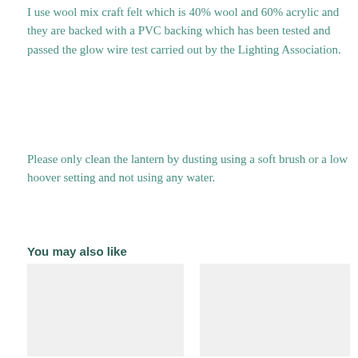I use wool mix craft felt which is 40% wool and 60% acrylic and they are backed with a PVC backing which has been tested and passed the glow wire test carried out by the Lighting Association.
Please only clean the lantern by dusting using a soft brush or a low hoover setting and not using any water.
You may also like
[Figure (photo): Product image placeholder (left)]
[Figure (photo): Product image placeholder (right)]